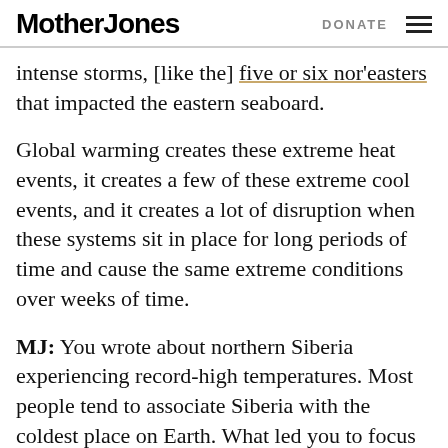Mother Jones | DONATE
intense storms, [like the] five or six nor'easters that impacted the eastern seaboard.
Global warming creates these extreme heat events, it creates a few of these extreme cool events, and it creates a lot of disruption when these systems sit in place for long periods of time and cause the same extreme conditions over weeks of time.
MJ: You wrote about northern Siberia experiencing record-high temperatures. Most people tend to associate Siberia with the coldest place on Earth. What led you to focus on the surprising heat event there?